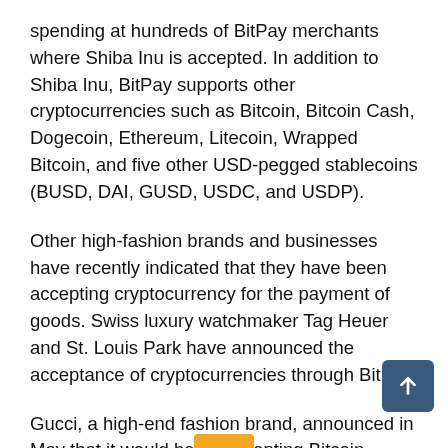spending at hundreds of BitPay merchants where Shiba Inu is accepted. In addition to Shiba Inu, BitPay supports other cryptocurrencies such as Bitcoin, Bitcoin Cash, Dogecoin, Ethereum, Litecoin, Wrapped Bitcoin, and five other USD-pegged stablecoins (BUSD, DAI, GUSD, USDC, and USDP).
Other high-fashion brands and businesses have recently indicated that they have been accepting cryptocurrency for the payment of goods. Swiss luxury watchmaker Tag Heuer and St. Louis Park have announced the acceptance of cryptocurrencies through BitPay.
Gucci, a high-end fashion brand, announced in May that it would begin accepting Bitcoin, Dogecoin, Shiba Inu, and several other cryptocurrencies at select locations in North America.